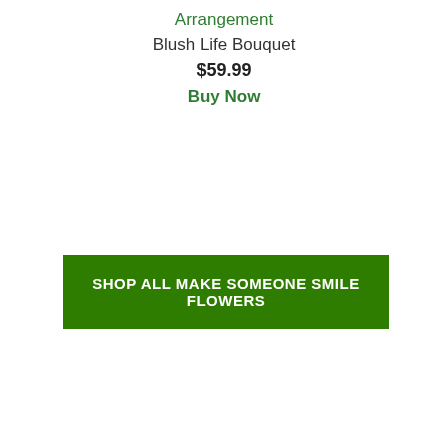Arrangement
Blush Life Bouquet
$59.99
Buy Now
SHOP ALL MAKE SOMEONE SMILE FLOWERS